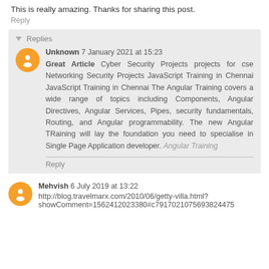This is really amazing. Thanks for sharing this post.
Reply
▼ Replies
Unknown 7 January 2021 at 15:23
Great Article Cyber Security Projects projects for cse Networking Security Projects JavaScript Training in Chennai JavaScript Training in Chennai The Angular Training covers a wide range of topics including Components, Angular Directives, Angular Services, Pipes, security fundamentals, Routing, and Angular programmability. The new Angular TRaining will lay the foundation you need to specialise in Single Page Application developer. Angular Training
Reply
Mehvish 6 July 2019 at 13:22
http://blog.travelmarx.com/2010/06/getty-villa.html?showComment=1562412023380#c7917021075693824475